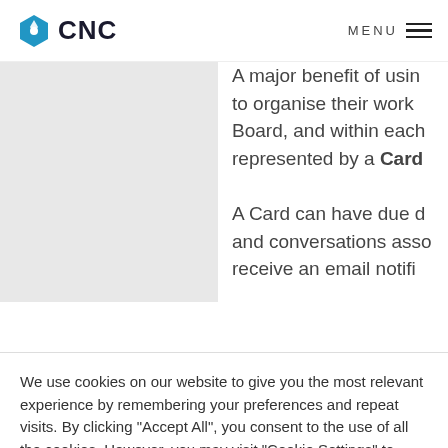CNC — MENU
[Figure (photo): Grey placeholder image on left side of article]
A major benefit of using to organise their work Board, and within each represented by a Card

A Card can have due d and conversations asse receive an email notifi
We use cookies on our website to give you the most relevant experience by remembering your preferences and repeat visits. By clicking "Accept All", you consent to the use of all the cookies. However, you may visit "Cookie Settings" to provide a controlled consent.
Cookie Settings
Accept All